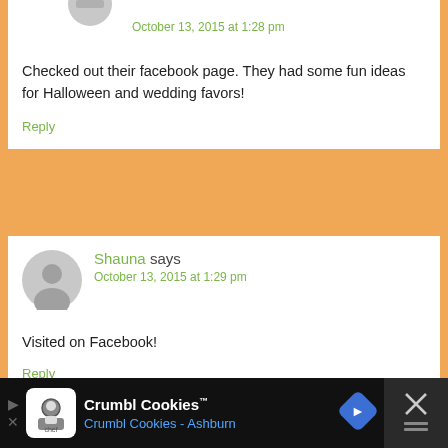October 13, 2015 at 1:28 pm
Checked out their facebook page. They had some fun ideas for Halloween and wedding favors!
Reply
Shauna says
October 13, 2015 at 1:29 pm
Visited on Facebook!
Reply
Crumbl Cookies™ Crumbl Cookies - Ashburn